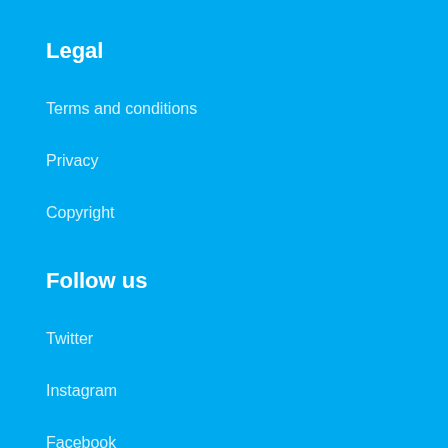Legal
Terms and conditions
Privacy
Copyright
Follow us
Twitter
Instagram
Facebook
Install app
iOS
Android
Chrome extension